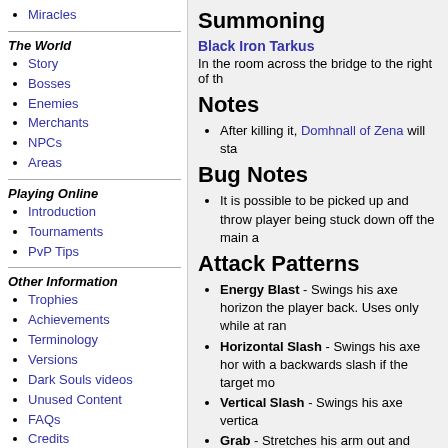Miracles
The World
Story
Bosses
Enemies
Merchants
NPCs
Areas
Playing Online
Introduction
Tournaments
PvP Tips
Other Information
Trophies
Achievements
Terminology
Versions
Dark Souls videos
Unused Content
FAQs
Credits
Links
Summoning
Black Iron Tarkus
In the room across the bridge to the right of th
Notes
After killing it, Domhnall of Zena will sta
Bug Notes
It is possible to be picked up and throw player being stuck down off the main a
Attack Patterns
Energy Blast - Swings his axe horizon the player back. Uses only while at ran
Horizontal Slash - Swings his axe hor with a backwards slash if the target mo
Vertical Slash - Swings his axe vertica
Grab - Stretches his arm out and grabs picks them up and throws them to the g ground cause damage.
Stomp - Stomps 2-3 times in a row.
Punch - Punches the ground in front o
If the player is too close, the Golem wi